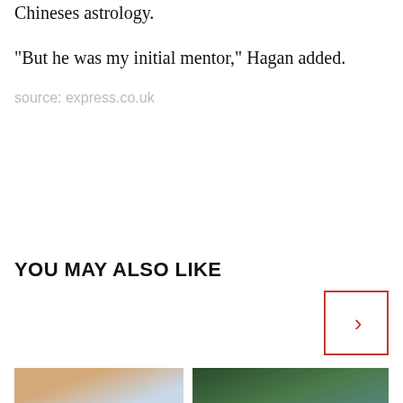Chineses astrology.
“But he was my initial mentor,” Hagan added.
source: express.co.uk
YOU MAY ALSO LIKE
[Figure (photo): Navigation arrow button (chevron right) inside a red-bordered square box]
[Figure (photo): Thumbnail photo of a person's face (blond hair) against a light sky background]
[Figure (photo): Thumbnail photo of a green outdoor/landscape scene with teal/turquoise element]